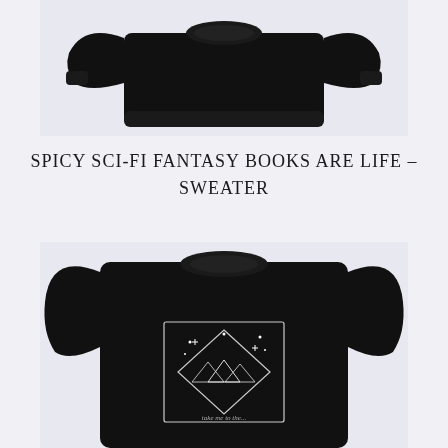[Figure (photo): Black crewneck sweater shown from the front on a light lavender/grey background, cropped showing the body and sleeves]
SPICY SCI-FI FANTASY BOOKS ARE LIFE – SWEATER
[Figure (photo): Black crewneck sweater with a graphic print featuring mountains, stars, and a diamond/square frame design with script text below on a light lavender/grey background]